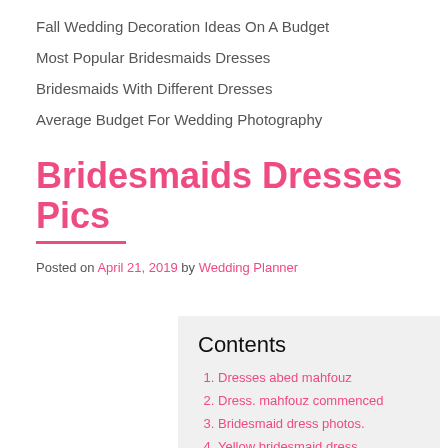Fall Wedding Decoration Ideas On A Budget
Most Popular Bridesmaids Dresses
Bridesmaids With Different Dresses
Average Budget For Wedding Photography
Bridesmaids Dresses Pics
Posted on April 21, 2019 by Wedding Planner
Contents
1. Dresses abed mahfouz
2. Dress. mahfouz commenced
3. Bridesmaid dress photos.
4. Yellow bridesmaid dress
5. bridesmaid dress